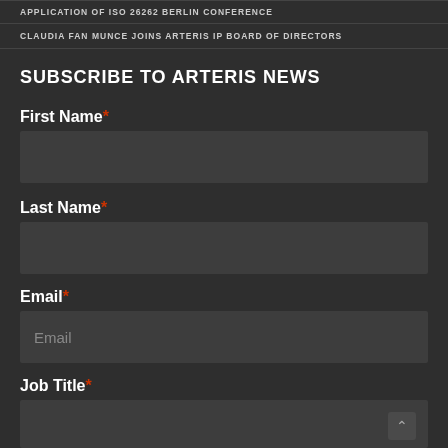APPLICATION OF ISO 26262 BERLIN CONFERENCE
CLAUDIA FAN MUNCE JOINS ARTERIS IP BOARD OF DIRECTORS
SUBSCRIBE TO ARTERIS NEWS
First Name*
Last Name*
Email*
Job Title*